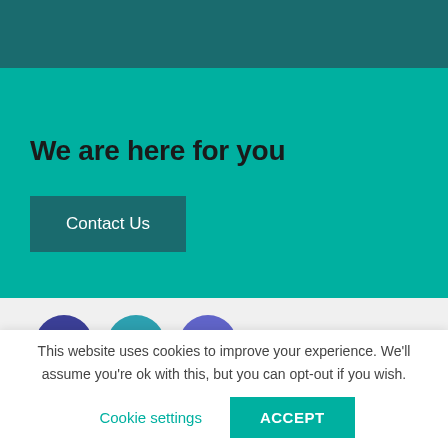[Figure (screenshot): Dark teal navigation header bar at top of webpage]
We are here for you
Contact Us
[Figure (illustration): Social media icons: Facebook (dark blue/purple circle), LinkedIn (teal circle), Instagram (blue-purple circle)]
This website uses cookies to improve your experience. We'll assume you're ok with this, but you can opt-out if you wish.
Cookie settings
ACCEPT